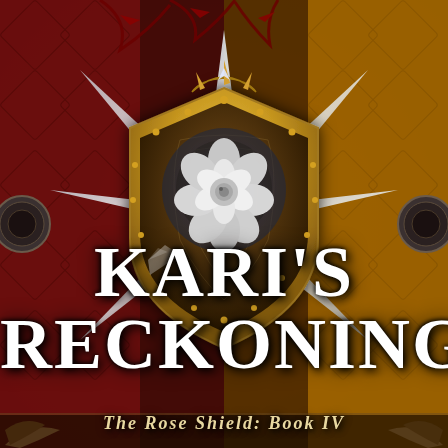[Figure (illustration): Fantasy book cover art featuring a dark ornate background split between deep crimson red on the left and rich golden amber on the right, with intricate carved wood-like patterns. A large star-burst/compass shape with silver pointed tips radiates from the center. A golden brass shield sits in the center, crowned with a golden crescent and thorns at the top. Inside the shield is a glowing white rose. Decorative medallions on left and right edges.]
KARI'S RECKONING
The Rose Shield: Book IV